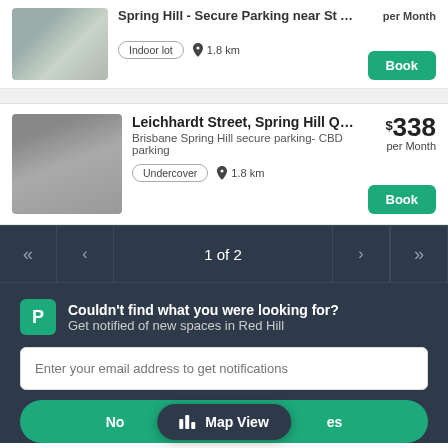Spring Hill - Secure Parking near St Andrews H... per Month
Indoor lot  1.8 km  Book
Leichhardt Street, Spring Hill Queensla...  $338 per Month
Brisbane Spring Hill secure parking- CBD parking
Undercover  1.8 km  Book
1 of 2
Couldn't find what you were looking for? Get notified of new spaces in Red Hill
Enter your email address to get notifications
No... es
Map View